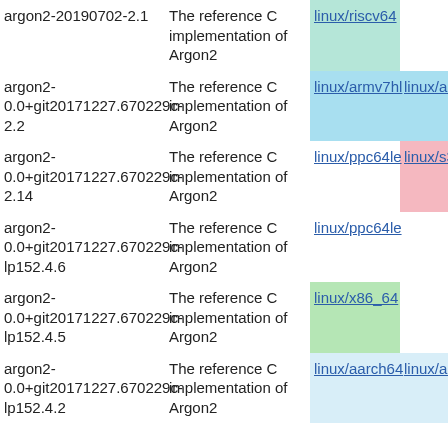| Package | Description | Link1 | Link2 |
| --- | --- | --- | --- |
| argon2-20190702-2.1 | The reference C implementation of Argon2 | linux/riscv64 |  |
| argon2-0.0+git20171227.670229c-2.2 | The reference C implementation of Argon2 | linux/armv7hl | linux/arm... |
| argon2-0.0+git20171227.670229c-2.14 | The reference C implementation of Argon2 | linux/ppc64le | linux/s39... |
| argon2-0.0+git20171227.670229c-lp152.4.6 | The reference C implementation of Argon2 | linux/ppc64le |  |
| argon2-0.0+git20171227.670229c-lp152.4.5 | The reference C implementation of Argon2 | linux/x86_64 |  |
| argon2-0.0+git20171227.670229c-lp152.4.2 | The reference C implementation of Argon2 | linux/aarch64 | linux/arm... |